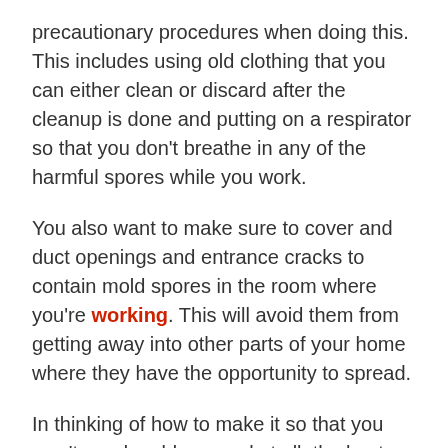precautionary procedures when doing this. This includes using old clothing that you can either clean or discard after the cleanup is done and putting on a respirator so that you don't breathe in any of the harmful spores while you work.
You also want to make sure to cover and duct openings and entrance cracks to contain mold spores in the room where you're working. This will avoid them from getting away into other parts of your home where they have the opportunity to spread.
In thinking of how to make it so that you won't need mold removal at all, the best thing you can do is get waterproofing.
Get the abovementioned locations; basements,